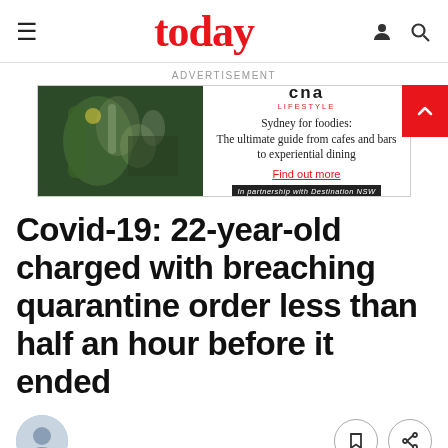today
ADVERTISEMENT
[Figure (screenshot): CNA Lifestyle advertisement banner: photo of cocktail-making on left, text on right reading 'cna LIFESTYLE – Sydney for foodies: The ultimate guide from cafes and bars to experiential dining – Find out more – In partnership with Destination NSW']
Covid-19: 22-year-old charged with breaching quarantine order less than half an hour before it ended
[Figure (photo): Author avatar photo of Louisa Tang]
BY LOUISA TANG